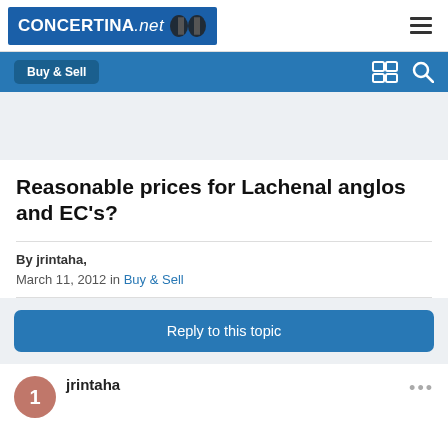CONCERTINA.net
Buy & Sell
[Figure (other): Gray advertisement/banner placeholder area]
Reasonable prices for Lachenal anglos and EC's?
By jrintaha,
March 11, 2012 in Buy & Sell
Reply to this topic
jrintaha